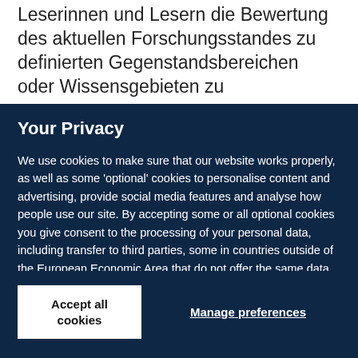Leserinnen und Lesern die Bewertung des aktuellen Forschungsstandes zu definierten Gegenstandsbereichen oder Wissensgebieten zu
Your Privacy
We use cookies to make sure that our website works properly, as well as some 'optional' cookies to personalise content and advertising, provide social media features and analyse how people use our site. By accepting some or all optional cookies you give consent to the processing of your personal data, including transfer to third parties, some in countries outside of the European Economic Area that do not offer the same data protection standards as the country where you live. You can decide which optional cookies to accept by clicking on 'Manage Settings', where you can also find more information about how your personal data is processed. Further information can be found in our privacy policy.
Accept all cookies
Manage preferences